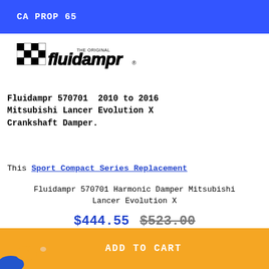CA PROP 65
[Figure (logo): Fluidampr THE ORIGINAL logo with checkered flag graphic]
Fluidampr 570701  2010 to 2016 Mitsubishi Lancer Evolution X Crankshaft Damper.
This Sport Compact Series Replacement
Fluidampr 570701 Harmonic Damper Mitsubishi Lancer Evolution X
$444.55 $523.00
ADD TO CART